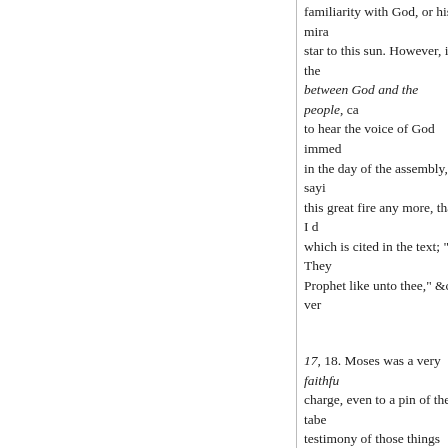familiarity with God, or his mira star to this sun. However, in the between God and the people, ca to hear the voice of God immed in the day of the assembly, sayi this great fire any more, that I d which is cited in the text; " The Prophet like unto thee," &c. ver
17, 18. Moses was a very faithful charge, even to a pin of the tabe testimony of those things which : 5, 6. Again, Moses confirmed b conviction of gainsayers. Herein miracles, which could not be de was that prophet which brought whereof that bondage was a figu
He is also described by the st raise him up
from among thy brethren. Of Is that our Lord sprang out of Juda